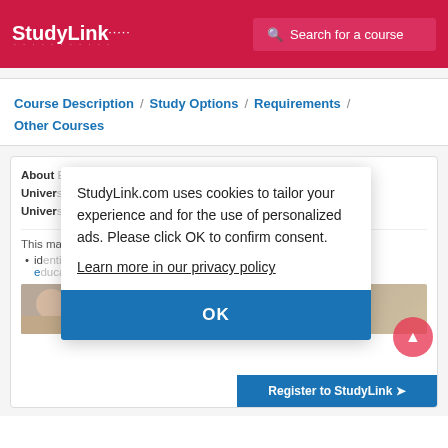StudyLink
Search for a course
Course Description / Study Options / Requirements / Other Courses
About University University College London (UCL) — partially obscured by cookie modal
This master — partially obscured
identify and reflect upon key concepts in education
StudyLink.com uses cookies to tailor your experience and for the use of personalized ads. Please click OK to confirm consent.
Learn more in our privacy policy
OK
Register to StudyLink